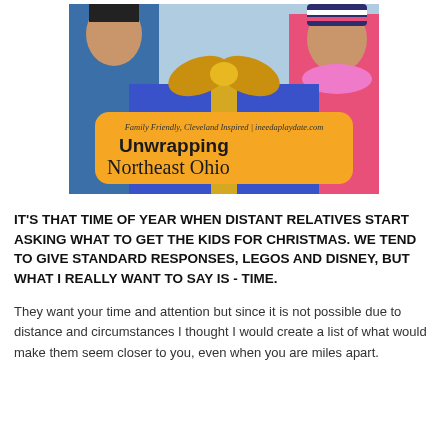[Figure (illustration): Blog header image showing a child holding a large blue wrapped gift with a gold bow. Text overlay reads 'Family Friendly, Cleveland Inspired | ineedaplaydate.com' and 'Unwrapping Northeast Ohio' on an orange/yellow rounded rectangle banner.]
IT'S THAT TIME OF YEAR WHEN DISTANT RELATIVES START ASKING WHAT TO GET THE KIDS FOR CHRISTMAS. WE TEND TO GIVE STANDARD RESPONSES, LEGOS AND DISNEY, BUT WHAT I REALLY WANT TO SAY IS - TIME.
They want your time and attention but since it is not possible due to distance and circumstances I thought I would create a list of what would make them seem closer to you, even when you are miles apart.